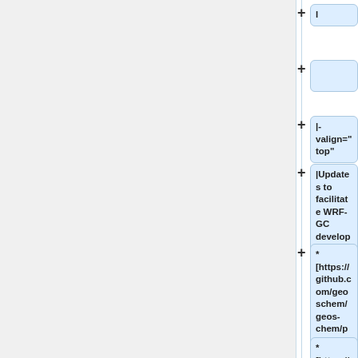l
|-valign="top"
|Updates to facilitate WRF-GC development:
* [https://github.com/geoschem/geos-chem/pull/319 Ignore KPP integrate errors and send them to a log file instead]
* [https://github.c